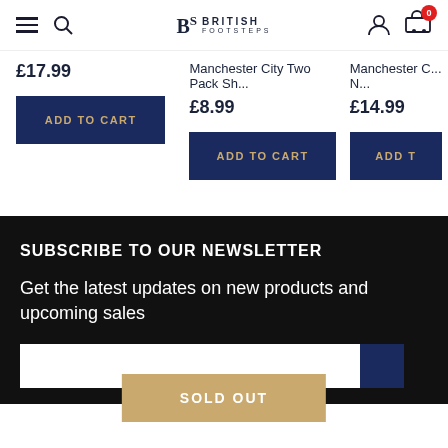British Footsteps navigation header with hamburger menu, search, logo, account and cart icons
£17.99
Manchester City Two Pack Sh...
£8.99
Manchester C... N...
£14.99
SUBSCRIBE TO OUR NEWSLETTER
Get the latest updates on new products and upcoming sales